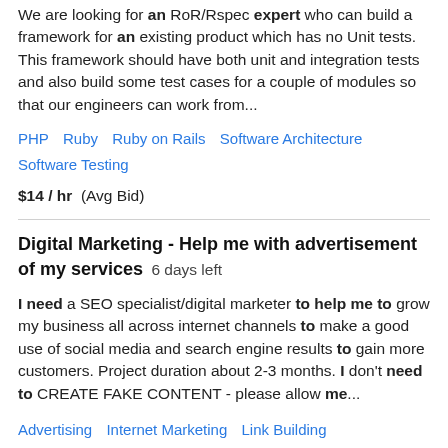We are looking for an RoR/Rspec expert who can build a framework for an existing product which has no Unit tests. This framework should have both unit and integration tests and also build some test cases for a couple of modules so that our engineers can work from...
PHP   Ruby   Ruby on Rails   Software Architecture   Software Testing
$14 / hr  (Avg Bid)
Digital Marketing - Help me with advertisement of my services  6 days left
I need a SEO specialist/digital marketer to help me to grow my business all across internet channels to make a good use of social media and search engine results to gain more customers. Project duration about 2-3 months. I don't need to CREATE FAKE CONTENT - please allow me...
Advertising   Internet Marketing   Link Building   Marketing   SEO